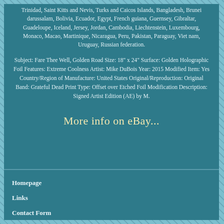Trinidad, Saint Kitts and Nevis, Turks and Caicos Islands, Bangladesh, Brunei darussalam, Bolivia, Ecuador, Egypt, French guiana, Guernsey, Gibraltar, Guadeloupe, Iceland, Jersey, Jordan, Cambodia, Liechtenstein, Luxembourg, Monaco, Macao, Martinique, Nicaragua, Peru, Pakistan, Paraguay, Viet nam, Uruguay, Russian federation.
Subject: Fare Thee Well, Golden Road Size: 18" x 24" Surface: Golden Holographic Foil Features: Extreme Coolness Artist: Mike DuBois Year: 2015 Modified Item: Yes Country/Region of Manufacture: United States Original/Reproduction: Original Band: Grateful Dead Print Type: Offset over Etched Foil Modification Description: Signed Artist Edition (AE) by M.
More info on eBay...
Homepage
Links
Contact Form
Privacy Policies
Service Agreement